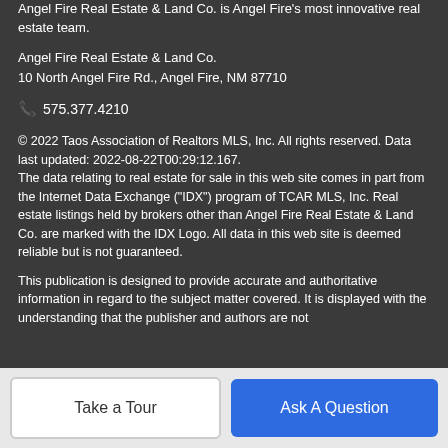Angel Fire Real Estate & Land Co. is Angel Fire's most innovative real estate team.
Angel Fire Real Estate & Land Co.
10 North Angel Fire Rd., Angel Fire, NM 87710
📞 575.377.4210
© 2022 Taos Association of Realtors MLS, Inc. All rights reserved. Data last updated: 2022-08-22T00:29:12.167. The data relating to real estate for sale in this web site comes in part from the Internet Data Exchange ("IDX") program of TCAR MLS, Inc. Real estate listings held by brokers other than Angel Fire Real Estate & Land Co. are marked with the IDX Logo. All data in this web site is deemed reliable but is not guaranteed.
This publication is designed to provide accurate and authoritative information in regard to the subject matter covered. It is displayed with the understanding that the publisher and authors are not
Take a Tour
Ask A Question